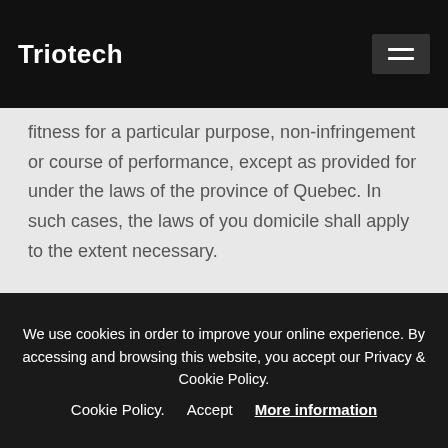Triotech
fitness for a particular purpose, non-infringement or course of performance, except as provided for under the laws of the province of Quebec. In such cases, the laws of you domicile shall apply to the extent necessary.
Triotech Amusement inc. its subsidiaries, affiliates, and its licensors do not warrant that a) the Service will function uninterrupted, secure or available at
We use cookies in order to improve your online experience. By accessing and browsing this website, you accept our Privacy & Cookie Policy.
Accept
More information